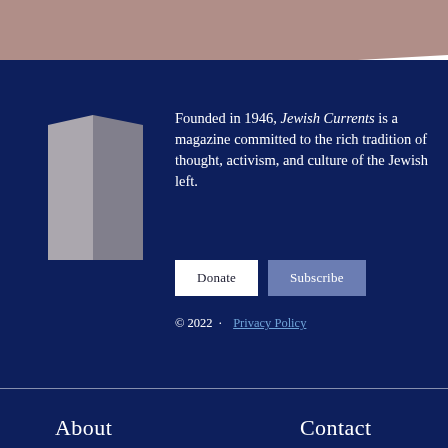[Figure (logo): Jewish Currents magazine logo — stylized open book or door outline in light gray on navy background]
Founded in 1946, Jewish Currents is a magazine committed to the rich tradition of thought, activism, and culture of the Jewish left.
Donate
Subscribe
© 2022  ·  Privacy Policy
About
Contact